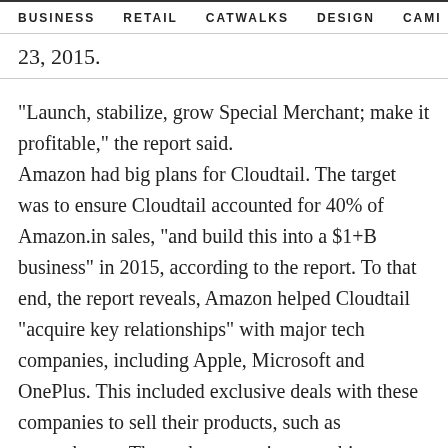BUSINESS   RETAIL   CATWALKS   DESIGN   CAMI >
23, 2015.
"Launch, stabilize, grow Special Merchant; make it profitable," the report said. Amazon had big plans for Cloudtail. The target was to ensure Cloudtail accounted for 40% of Amazon.in sales, "and build this into a $1+B business" in 2015, according to the report. To that end, the report reveals, Amazon helped Cloudtail "acquire key relationships" with major tech companies, including Apple, Microsoft and OnePlus. This included exclusive deals with these companies to sell their products, such as smartphones. The tech companies got a big new sales channel, while Cloudtail got coveted products that it listed on Amazon.in